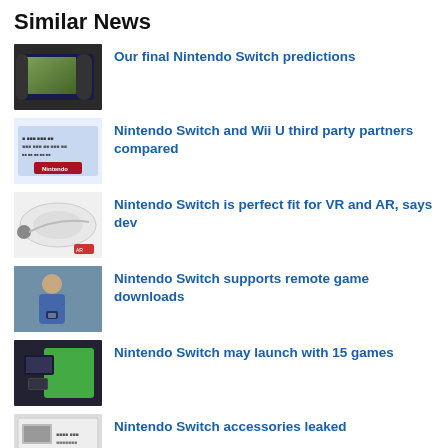Similar News
Our final Nintendo Switch predictions
Nintendo Switch and Wii U third party partners compared
Nintendo Switch is perfect fit for VR and AR, says dev
Nintendo Switch supports remote game downloads
Nintendo Switch may launch with 15 games
Nintendo Switch accessories leaked